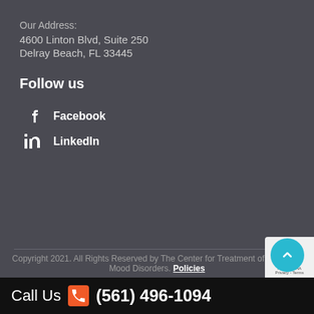Our Address:
4600 Linton Blvd, Suite 250
Delray Beach, FL 33445
Follow us
Facebook
LinkedIn
Copyright 2021. All Rights Reserved by The Center for Treatment of Anxiety & Mood Disorders. Policies
Call Us (561) 496-1094